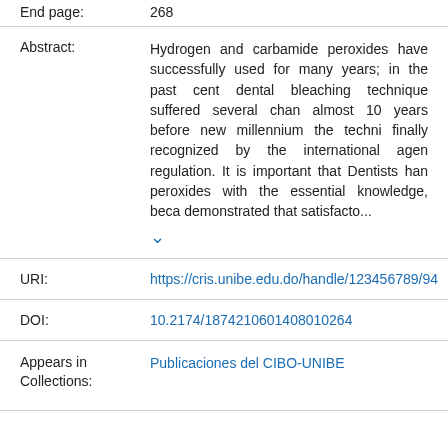End page: 268
Abstract: Hydrogen and carbamide peroxides have successfully used for many years; in the past cent dental bleaching technique suffered several chan almost 10 years before new millennium the techni finally recognized by the international agen regulation. It is important that Dentists han peroxides with the essential knowledge, beca demonstrated that satisfacto...
URI: https://cris.unibe.edu.do/handle/123456789/94
DOI: 10.2174/187421060140801 0264
Appears in Collections: Publicaciones del CIBO-UNIBE